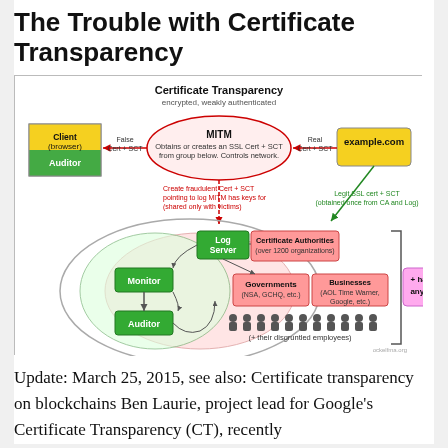The Trouble with Certificate Transparency
[Figure (flowchart): Diagram showing Certificate Transparency system with MITM attack scenario. Shows Client (browser)/Auditor on left, MITM node in center with arrows, example.com on right, and below: overlapping circles with Log Server, Certificate Authorities (over 1200 organizations), Monitor, Auditor, Governments (NSA, GCHQ, etc.), Businesses (AOL Time Warner, Google, etc.), figures representing employees, and '+ hackers of anyone here' outside. Arrows and labels describe fraudulent certificate creation and legit SSL cert flow.]
Update: March 25, 2015, see also: Certificate transparency on blockchains Ben Laurie, project lead for Google's Certificate Transparency (CT), recently